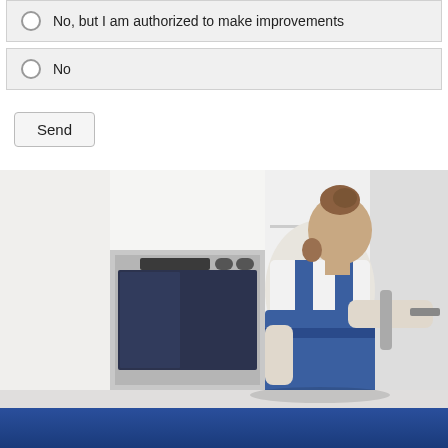No, but I am authorized to make improvements
No
Send
[Figure (photo): A repairman in blue overalls and white t-shirt with bun hairstyle and beard, working on a refrigerator in a kitchen with a built-in oven visible to the left.]